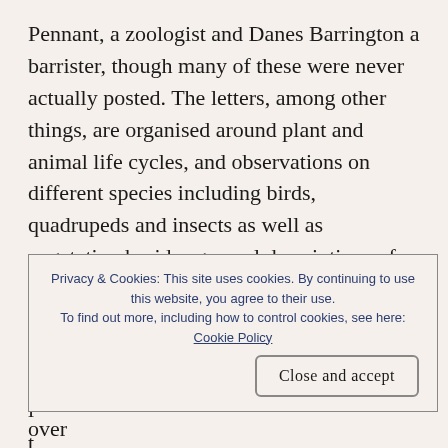Pennant, a zoologist and Danes Barrington a barrister, though many of these were never actually posted. The letters, among other things, are organised around plant and animal life cycles, and observations on different species including birds, quadrupeds and insects as well as vegetation besides general descriptions of Selborne. There are also some meteorological observations.
Gilbert White was born in July 1790 in his g... l... t... e...
detailed observations of nature and animals over